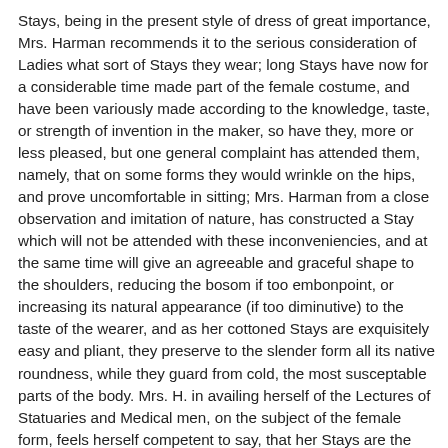Stays, being in the present style of dress of great importance, Mrs. Harman recommends it to the serious consideration of Ladies what sort of Stays they wear; long Stays have now for a considerable time made part of the female costume, and have been variously made according to the knowledge, taste, or strength of invention in the maker, so have they, more or less pleased, but one general complaint has attended them, namely, that on some forms they would wrinkle on the hips, and prove uncomfortable in sitting; Mrs. Harman from a close observation and imitation of nature, has constructed a Stay which will not be attended with these inconveniencies, and at the same time will give an agreeable and graceful shape to the shoulders, reducing the bosom if too embonpoint, or increasing its natural appearance (if too diminutive) to the taste of the wearer, and as her cottoned Stays are exquisitely easy and pliant, they preserve to the slender form all its native roundness, while they guard from cold, the most susceptable parts of the body. Mrs. H. in availing herself of the Lectures of Statuaries and Medical men, on the subject of the female form, feels herself competent to say, that her Stays are the most perfect combination of study, talent, and attention to fashion and